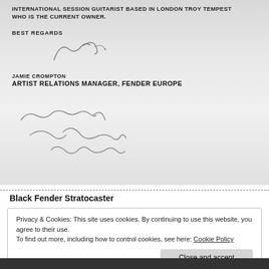INTERNATIONAL SESSION GUITARIST BASED IN LONDON TROY TEMPEST WHO IS THE CURRENT OWNER.
BEST REGARDS
[Figure (illustration): Handwritten signature reading J.C.]
JAMIE CROMPTON
ARTIST RELATIONS MANAGER, FENDER EUROPE
[Figure (illustration): Handwritten signature reading 'Yours faithfully - T. Compton']
Black Fender Stratocaster
Privacy & Cookies: This site uses cookies. By continuing to use this website, you agree to their use.
To find out more, including how to control cookies, see here: Cookie Policy
Close and accept
[Figure (photo): Partial photo visible at bottom of page]